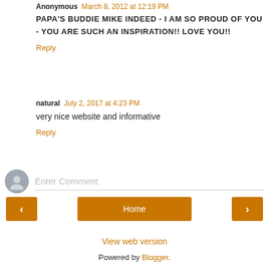Anonymous March 8, 2012 at 12:19 PM
PAPA'S BUDDIE MIKE INDEED - I AM SO PROUD OF YOU - YOU ARE SUCH AN INSPIRATION!! LOVE YOU!!
Reply
natural July 2, 2017 at 4:23 PM
very nice website and informative
Reply
Enter Comment
Home
View web version
Powered by Blogger.